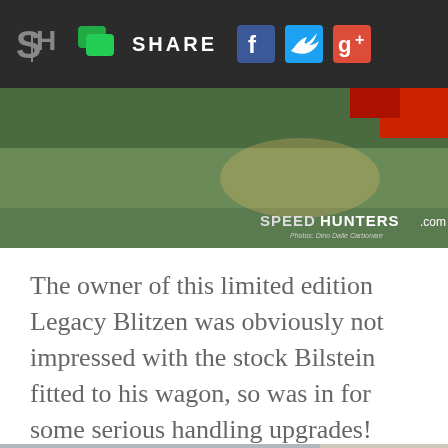SH SHARE [Facebook] [Twitter] [Google+]
[Figure (photo): Top portion of a racecar photo with green floor/surface and red car element, Speedhunters.com watermark with photo credit]
The owner of this limited edition Legacy Blitzen was obviously not impressed with the stock Bilstein fitted to his wagon, so was in for some serious handling upgrades!
[Figure (photo): Exterior photo of Master 1st Auto shop building with brick facade, glass entrance canopy, signage reading Master 1st Auto and Japanese text, cars parked outside]